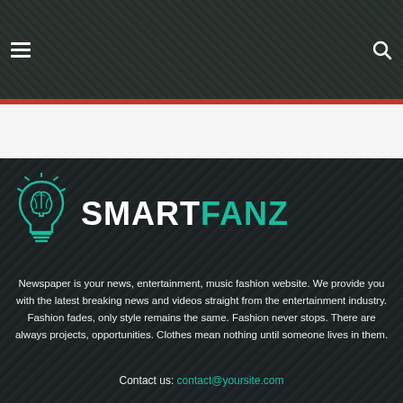SmartFanz website header with hamburger menu and search icon
[Figure (logo): SmartFanz logo: teal lightbulb with brain inside, text SMART in white bold and FANZ in teal bold]
Newspaper is your news, entertainment, music fashion website. We provide you with the latest breaking news and videos straight from the entertainment industry. Fashion fades, only style remains the same. Fashion never stops. There are always projects, opportunities. Clothes mean nothing until someone lives in them.
Contact us: contact@yoursite.com